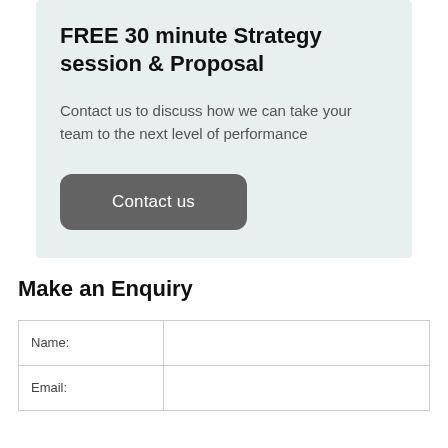FREE 30 minute Strategy session & Proposal
Contact us to discuss how we can take your team to the next level of performance
[Figure (other): Dark grey rounded button with white text reading 'Contact us']
Make an Enquiry
| Name: |  |
| Email: |  |